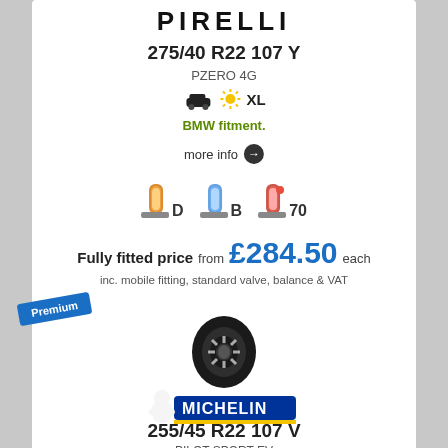PIRELLI
275/40 R22 107 Y
PZERO 4G
SUV icon | Sun icon XL
BMW fitment.
more info →
[Figure (infographic): Tyre ratings: D (fuel efficiency), B (wet grip), 70 (noise dB) shown as tyre icons with labels]
Fully fitted price from £284.50 each
inc. mobile fitting, standard valve, balance & VAT
Premium
[Figure (photo): Black Michelin tyre on alloy wheel, side profile view]
[Figure (logo): Michelin logo with Michelin Man and MICHELIN wordmark on blue background]
255/45 R22 107 V
PILOT SPORT EV (partial)